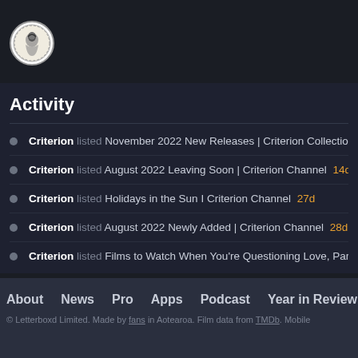[Figure (logo): Letterboxd circular logo with illustrated figure on white background]
Activity
Criterion listed November 2022 New Releases | Criterion Collection 14d
Criterion listed August 2022 Leaving Soon | Criterion Channel 14d
Criterion listed Holidays in the Sun I Criterion Channel 27d
Criterion listed August 2022 Newly Added | Criterion Channel 28d
Criterion listed Films to Watch When You're Questioning Love, Part II | Crite
About  News  Pro  Apps  Podcast  Year in Review  Gif
© Letterboxd Limited. Made by fans in Aotearoa. Film data from TMDb. Mobile